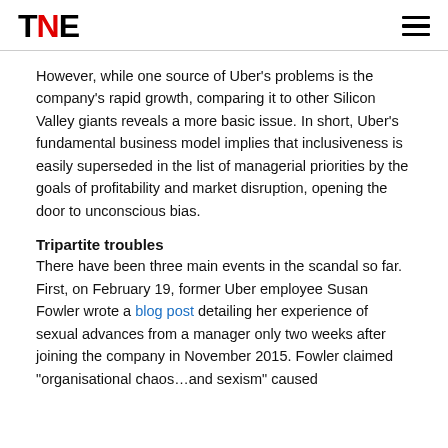TNE
However, while one source of Uber’s problems is the company’s rapid growth, comparing it to other Silicon Valley giants reveals a more basic issue. In short, Uber’s fundamental business model implies that inclusiveness is easily superseded in the list of managerial priorities by the goals of profitability and market disruption, opening the door to unconscious bias.
Tripartite troubles
There have been three main events in the scandal so far. First, on February 19, former Uber employee Susan Fowler wrote a blog post detailing her experience of sexual advances from a manager only two weeks after joining the company in November 2015. Fowler claimed “organisational chaos…and sexism” caused